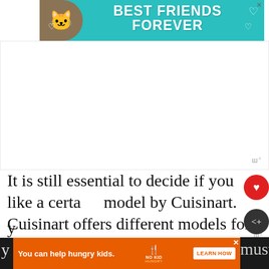[Figure (screenshot): Top banner advertisement with teal background showing a cat and text 'BEST FRIENDS FOREVER' with hearts]
[Figure (screenshot): Large white advertisement space placeholder with monocle icon bottom right]
It is still essential to decide if you like a certain model by Cuisinart. Cuisinart offers different models for everyone's different needs. All the cookware sets may look alike, but they differ by certain features. You should choose a cookware set that checks all the boxes for your needs. You must look...
[Figure (screenshot): What's Next widget showing '5 Best Tramontina...' with orange/red thumbnail]
[Figure (screenshot): Bottom banner ad: 'You can help hungry kids.' with No Kid Hungry logo and LEARN HOW button on orange background]